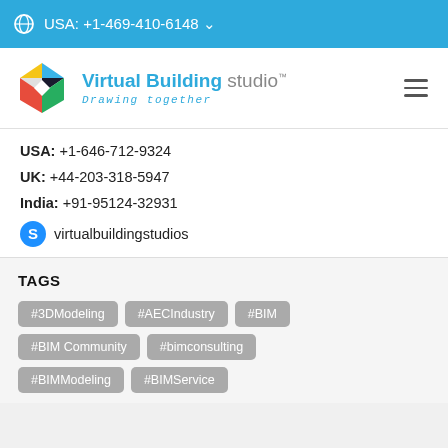USA: +1-469-410-6148
[Figure (logo): Virtual Building Studio logo with colorful geometric cube icon and text 'Virtual Building studio™ Drawing together']
USA: +1-646-712-9324
UK: +44-203-318-5947
India: +91-95124-32931
virtualbuildingstudios
TAGS
#3DModeling
#AECIndustry
#BIM
#BIM Community
#bimconsulting
#BIMModeling
#BIMService